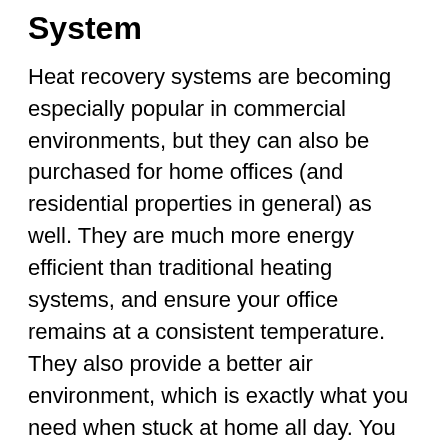System
Heat recovery systems are becoming especially popular in commercial environments, but they can also be purchased for home offices (and residential properties in general) as well. They are much more energy efficient than traditional heating systems, and ensure your office remains at a consistent temperature. They also provide a better air environment, which is exactly what you need when stuck at home all day. You can find out more about them via this link: https://www.bpcventilation.com/commercial-heat-recovery .